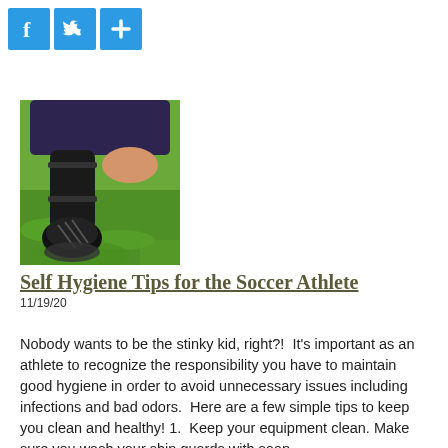[Figure (logo): Three social media icon buttons: Facebook (f), Twitter (bird), and a share/plus icon, all with blue backgrounds]
[Figure (photo): Photo of soccer shin guards and cleats lying on green grass, with a person's legs visible wearing dark athletic clothing]
Self Hygiene Tips for the Soccer Athlete
11/19/20
Nobody wants to be the stinky kid, right?!  It's important as an athlete to recognize the responsibility you have to maintain good hygiene in order to avoid unnecessary issues including infections and bad odors.  Here are a few simple tips to keep you clean and healthy! 1.  Keep your equipment clean. Make sure you wash your shin guards with soap...